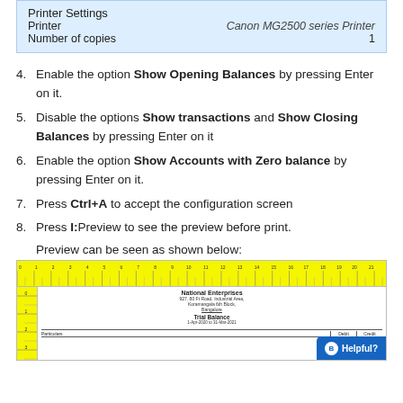| Printer Settings |  |
| --- | --- |
| Printer | Canon MG2500 series Printer |
| Number of copies | 1 |
4. Enable the option Show Opening Balances by pressing Enter on it.
5. Disable the options Show transactions and Show Closing Balances by pressing Enter on it
6. Enable the option Show Accounts with Zero balance by pressing Enter on it.
7. Press Ctrl+A to accept the configuration screen
8. Press I:Preview to see the preview before print.
Preview can be seen as shown below:
[Figure (screenshot): Screenshot of a print preview showing a ruler along the top and left side, with a document header for National Enterprises showing address and Trial Balance report header, with a Particulars table row visible at the bottom. A 'Helpful?' button overlay appears in the bottom-right.]